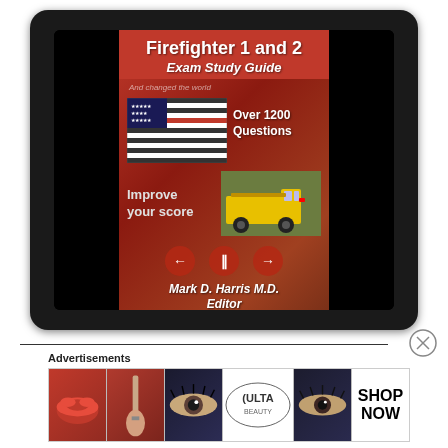[Figure (illustration): Tablet device displaying a book cover for 'Firefighter 1 and 2 Exam Study Guide' with red background, thin red line American flag, fire truck image, media player controls, and author Mark D. Harris M.D., Editor. Over 1200 Questions and Improve your score text shown.]
Advertisements
[Figure (photo): Advertisement banner showing ULTA beauty products advertisement with makeup and beauty images: lips with lipstick, makeup brush, eye with makeup, ULTA logo, eye close-up, and SHOP NOW text]